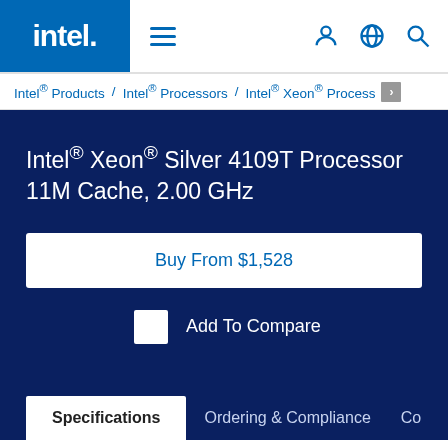intel. (logo) | hamburger menu | user icon | globe icon | search icon
Intel® Products / Intel® Processors / Intel® Xeon® Process...
Intel® Xeon® Silver 4109T Processor 11M Cache, 2.00 GHz
Buy From $1,528
Add To Compare
Specifications | Ordering & Compliance | Compatib...